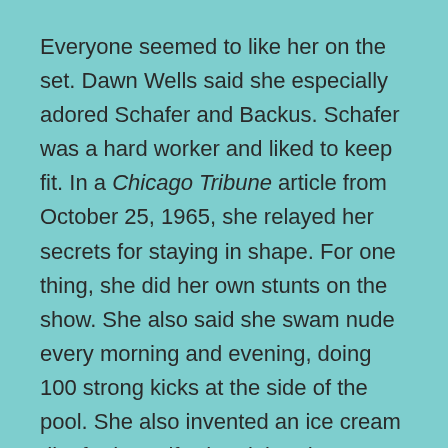Everyone seemed to like her on the set. Dawn Wells said she especially adored Schafer and Backus. Schafer was a hard worker and liked to keep fit. In a Chicago Tribune article from October 25, 1965, she relayed her secrets for staying in shape. For one thing, she did her own stunts on the show. She also said she swam nude every morning and evening, doing 100 strong kicks at the side of the pool. She also invented an ice cream diet for herself. She claimed to eat a quart a day, saying she had a bowl of vanilla ice cream with her coffee, two bowls of varying flavors for both lunch and dinner, and another single bowl for an afternoon snack. She claimed that she would lose three pounds in five days.
In 1990, Schafer passed away from liver cancer. After her death, she wanted people to realize her true age, and